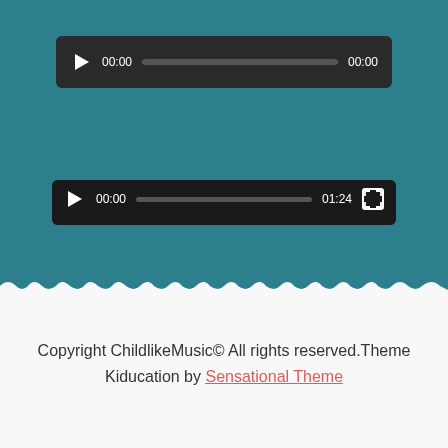[Figure (screenshot): Audio player bar with play button, 00:00 timestamp, progress bar, and 00:00 end time on dark background]
[Figure (screenshot): YouTube video embed showing a young girl playing harp with red curtain background. Title reads '2019CLM' with Chinese characters. Channel avatar visible top left. Video controls show 00:00 / 01:24 with progress bar and fullscreen button.]
Copyright ChildlikeMusic© All rights reserved.Theme Kiducation by Sensational Theme